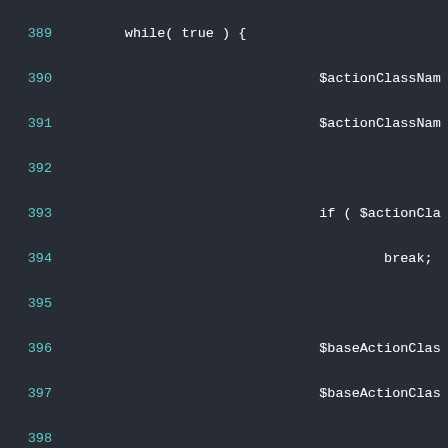Code listing lines 389-414, PHP source code showing a while(true) loop with action class name resolution logic, base action class checks, throw statements, and a comment 'Erzeugen der Action-Klasse'